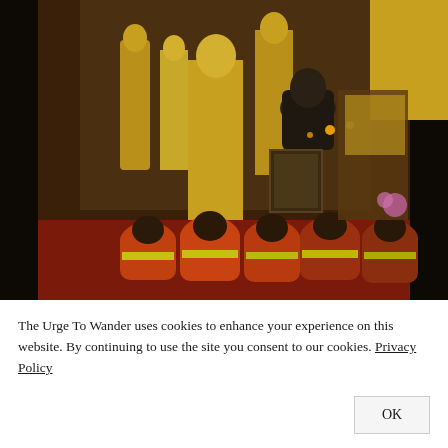[Figure (photo): Buddhist monks in orange robes kneeling and praying before golden Buddha statues in a temple. Multiple gold Buddha statues line the walls, candles lit on altars. Dark wooden temple pillars frame the scene. A framed portrait sits at the altar.]
The Urge To Wander uses cookies to enhance your experience on this website. By continuing to use the site you consent to our cookies. Privacy Policy